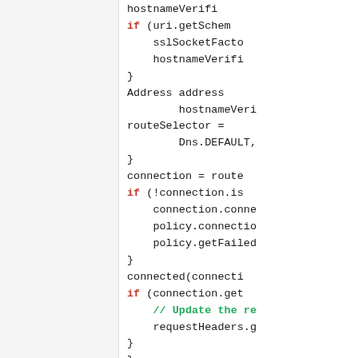[Figure (screenshot): Code snippet showing Java/Kotlin networking code with keywords if, connection, routeSelector, Dns.DEFAULT, connected, requestHeaders, and a Javadoc comment start. Left panel is a grey sidebar. Right panel shows source code with syntax highlighting: red/bold keywords, green comments, black identifiers.]